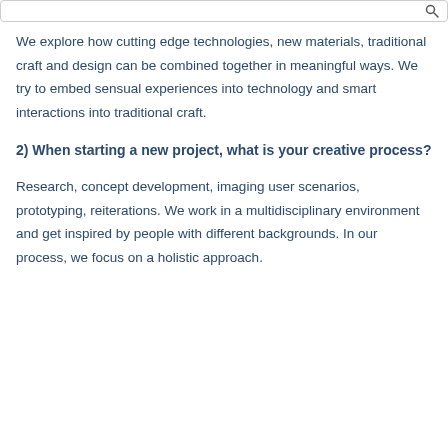We explore how cutting edge technologies, new materials, traditional craft and design can be combined together in meaningful ways. We try to embed sensual experiences into technology and smart interactions into traditional craft.
2) When starting a new project, what is your creative process?
Research, concept development, imaging user scenarios, prototyping, reiterations. We work in a multidisciplinary environment and get inspired by people with different backgrounds. In our process, we focus on a holistic approach.